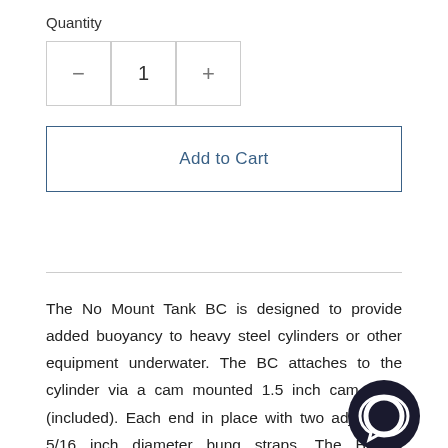Quantity
[Figure (screenshot): Quantity selector with minus button, number 1, and plus button in bordered boxes]
Add to Cart
The No Mount Tank BC is designed to provide added buoyancy to heavy steel cylinders or other equipment underwater. The BC attaches to the cylinder via a cam mounted 1.5 inch cam strap (included). Each end in place with two adjustable 5/16 inch diameter bung straps. The BC is constructed using a SuperFabric outershell